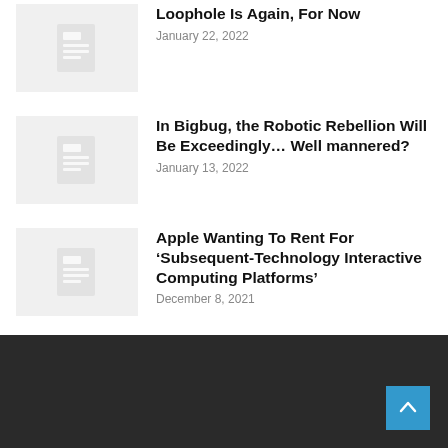[Figure (illustration): Document/article thumbnail placeholder icon with lines on grey background]
Loophole Is Again, For Now
January 22, 2022
[Figure (illustration): Document/article thumbnail placeholder icon with lines on grey background]
In Bigbug, the Robotic Rebellion Will Be Exceedingly… Well mannered?
January 13, 2022
[Figure (illustration): Document/article thumbnail placeholder icon with lines on grey background]
Apple Wanting To Rent For ‘Subsequent-Technology Interactive Computing Platforms’
December 8, 2021